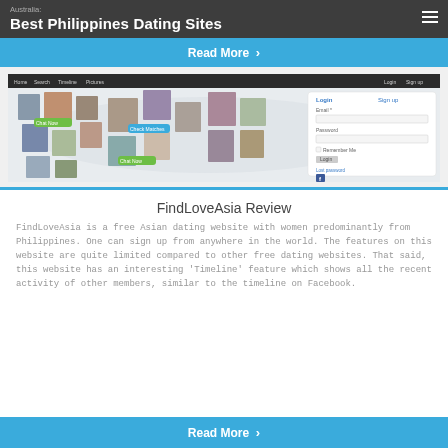Australia: Best Philippines Dating Sites
Read More ›
[Figure (screenshot): Screenshot of FindLoveAsia website homepage showing a world map with profile photos of various people overlaid, with a Login and Sign up panel on the right side.]
FindLoveAsia Review
FindLoveAsia is a free Asian dating website with women predominantly from Philippines. One can sign up from anywhere in the world. The features on this website are quite limited compared to other free dating websites. That said, this website has an interesting 'Timeline' feature which shows all the recent activity of other members, similar to the timeline on Facebook.
Read More ›